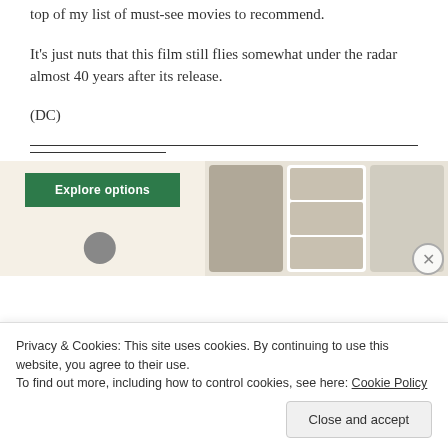top of my list of must-see movies to recommend.
It's just nuts that this film still flies somewhat under the radar almost 40 years after its release.
(DC)
[Figure (screenshot): Advertisement banner with green 'Explore options' button on a beige background, with food imagery on the right side showing recipe cards.]
Privacy & Cookies: This site uses cookies. By continuing to use this website, you agree to their use.
To find out more, including how to control cookies, see here: Cookie Policy